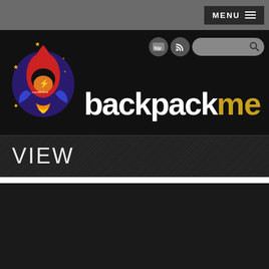MENU
[Figure (logo): backpack ME logo with rocket/backpack mascot illustration and text 'backpack me']
VIEW
[Figure (photo): Aerial cityscape photo showing a sunset over a city with dramatic cloudy sky, warm orange and yellow tones near the horizon]